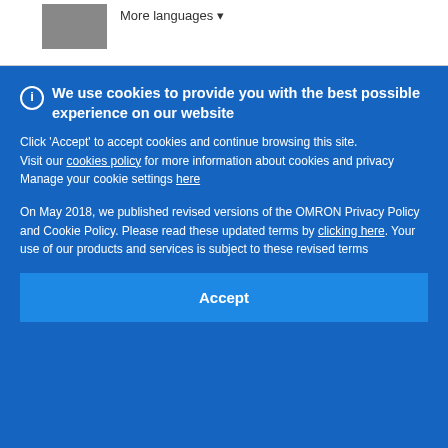More languages ▾
We use cookies to provide you with the best possible experience on our website
Click 'Accept' to accept cookies and continue browsing this site. Visit our cookies policy for more information about cookies and privacy
Manage your cookie settings here
On May 2018, we published revised versions of the OMRON Privacy Policy and Cookie Policy. Please read these updated terms by clicking here. Your use of our products and services is subject to these revised terms
Accept